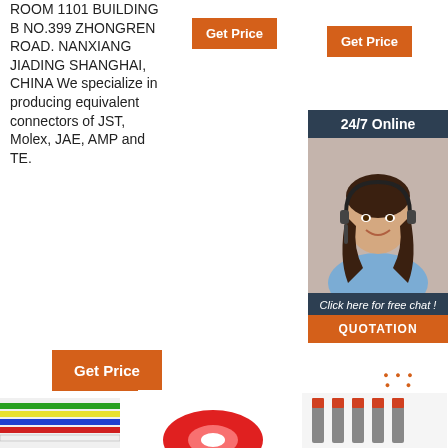ROOM 1101 BUILDING B NO.399 ZHONGREN ROAD. NANXIANG JIADING SHANGHAI, CHINA We specialize in producing equivalent connectors of JST, Molex, JAE, AMP and TE.
[Figure (other): Orange 'Get Price' button]
[Figure (other): Orange 'Get Price' button]
[Figure (other): 24/7 Online chat sidebar with woman wearing headset, 'Click here for free chat!' text, and orange QUOTATION button]
[Figure (other): Orange 'Get Price' button]
[Figure (other): TOP logo with orange dots above orange text]
[Figure (photo): Multicolored wire cable bottom left]
[Figure (photo): Red tape roll bottom center]
[Figure (photo): Electrical ferrule connectors bottom right]